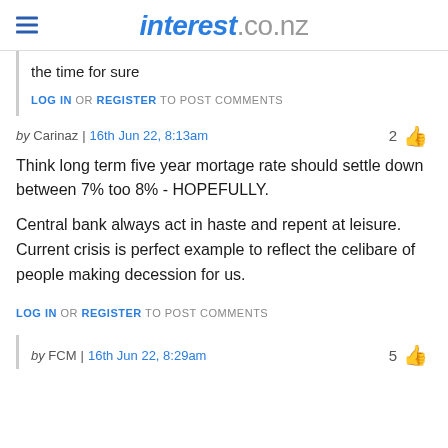interest.co.nz
the time for sure
LOG IN OR REGISTER TO POST COMMENTS
by Carinaz | 16th Jun 22, 8:13am   2 👍
Think long term five year mortage rate should settle down between 7% too 8% -  HOPEFULLY.

Central bank always act in haste and repent at leisure. Current crisis is perfect example to reflect the celibare  of people making decession for us.
LOG IN OR REGISTER TO POST COMMENTS
by FCM | 16th Jun 22, 8:29am   5 👍